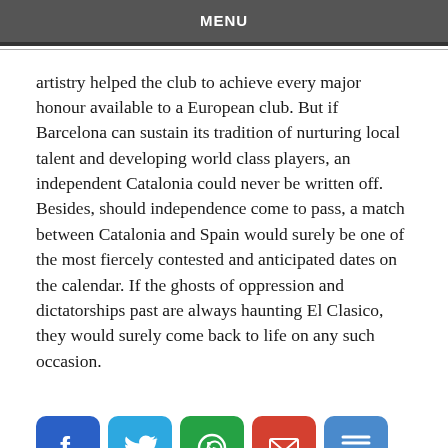MENU
artistry helped the club to achieve every major honour available to a European club. But if Barcelona can sustain its tradition of nurturing local talent and developing world class players, an independent Catalonia could never be written off. Besides, should independence come to pass, a match between Catalonia and Spain would surely be one of the most fiercely contested and anticipated dates on the calendar. If the ghosts of oppression and dictatorships past are always haunting El Clasico, they would surely come back to life on any such occasion.
[Figure (infographic): Social share buttons: Facebook (blue), Twitter (light blue), WhatsApp (green), Gmail (red), More/Share (blue)]